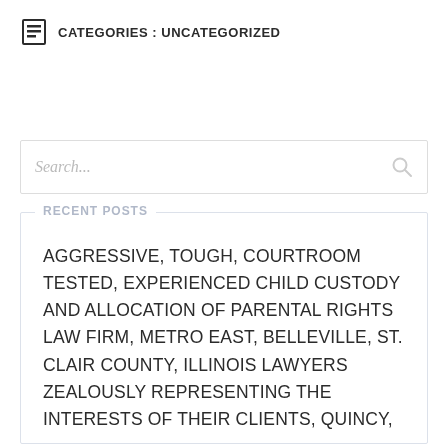CATEGORIES : UNCATEGORIZED
RECENT POSTS
AGGRESSIVE, TOUGH, COURTROOM TESTED, EXPERIENCED CHILD CUSTODY AND ALLOCATION OF PARENTAL RIGHTS LAW FIRM, METRO EAST, BELLEVILLE, ST. CLAIR COUNTY, ILLINOIS LAWYERS ZEALOUSLY REPRESENTING THE INTERESTS OF THEIR CLIENTS, QUINCY,